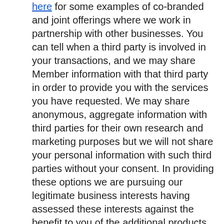here for some examples of co-branded and joint offerings where we work in partnership with other businesses. You can tell when a third party is involved in your transactions, and we may share Member information with that third party in order to provide you with the services you have requested. We may share anonymous, aggregate information with third parties for their own research and marketing purposes but we will not share your personal information with such third parties without your consent. In providing these options we are pursuing our legitimate business interests having assessed these interests against the benefit to you of the additional products and services and the risks associated with the information we share.
Third-Party Service Providers: We appoint third party companies and individuals as data processors to perform functions on our behalf. We will provide your personal data to such data processors in order for them to assist us in providing you with services. In